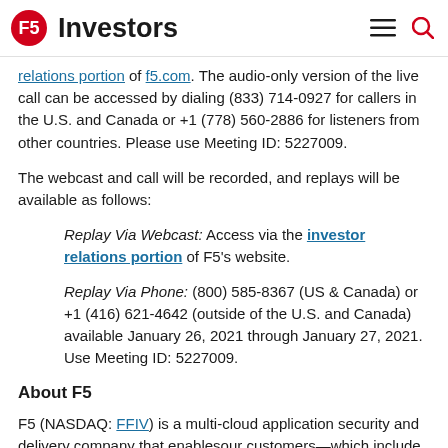F5 Investors
relations portion of f5.com. The audio-only version of the live call can be accessed by dialing (833) 714-0927 for callers in the U.S. and Canada or +1 (778) 560-2886 for listeners from other countries. Please use Meeting ID: 5227009.
The webcast and call will be recorded, and replays will be available as follows:
Replay Via Webcast: Access via the investor relations portion of F5's website.
Replay Via Phone: (800) 585-8367 (US & Canada) or +1 (416) 621-4642 (outside of the U.S. and Canada) available January 26, 2021 through January 27, 2021. Use Meeting ID: 5227009.
About F5
F5 (NASDAQ: FFIV) is a multi-cloud application security and delivery company that enablesour customers—which include